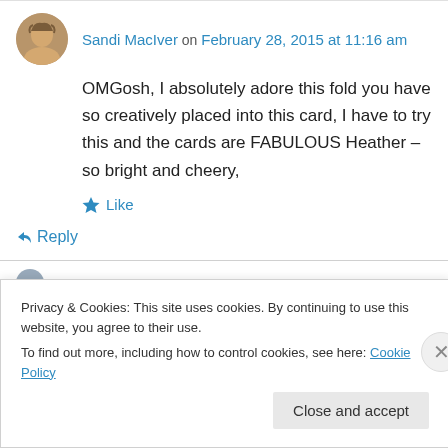Sandi MacIver on February 28, 2015 at 11:16 am
OMGosh, I absolutely adore this fold you have so creatively placed into this card, I have to try this and the cards are FABULOUS Heather – so bright and cheery,
Like
Reply
Privacy & Cookies: This site uses cookies. By continuing to use this website, you agree to their use.
To find out more, including how to control cookies, see here: Cookie Policy
Close and accept